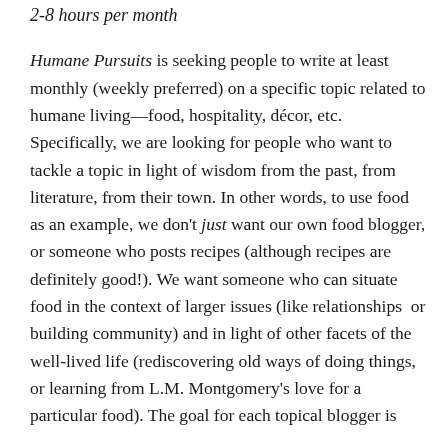2-8 hours per month
Humane Pursuits is seeking people to write at least monthly (weekly preferred) on a specific topic related to humane living—food, hospitality, décor, etc. Specifically, we are looking for people who want to tackle a topic in light of wisdom from the past, from literature, from their town. In other words, to use food as an example, we don't just want our own food blogger, or someone who posts recipes (although recipes are definitely good!). We want someone who can situate food in the context of larger issues (like relationships or building community) and in light of other facets of the well-lived life (rediscovering old ways of doing things, or learning from L.M. Montgomery's love for a particular food). The goal for each topical blogger is